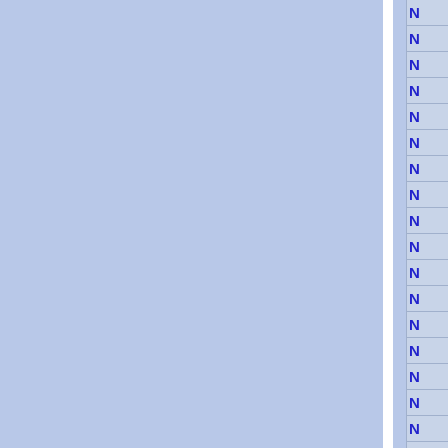[Figure (other): Document page showing two light blue columns separated by a white vertical divider, with a right-side panel containing a vertical list of blue bold 'N' letters (partially visible, cropped) separated by horizontal lines on a slightly different blue-gray background.]